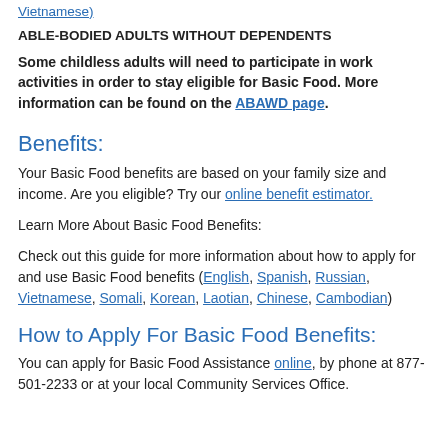Vietnamese)
ABLE-BODIED ADULTS WITHOUT DEPENDENTS
Some childless adults will need to participate in work activities in order to stay eligible for Basic Food. More information can be found on the ABAWD page.
Benefits:
Your Basic Food benefits are based on your family size and income. Are you eligible? Try our online benefit estimator.
Learn More About Basic Food Benefits:
Check out this guide for more information about how to apply for and use Basic Food benefits (English, Spanish, Russian, Vietnamese, Somali, Korean, Laotian, Chinese, Cambodian)
How to Apply For Basic Food Benefits:
You can apply for Basic Food Assistance online, by phone at 877-501-2233 or at your local Community Services Office.